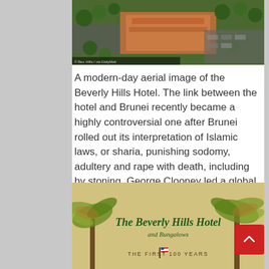[Figure (photo): Aerial view of Beverly Hills Hotel surrounded by trees and parking lots]
A modern-day aerial image of the Beverly Hills Hotel. The link between the hotel and Brunei recently became a highly controversial one after Brunei rolled out its interpretation of Islamic laws, or sharia, punishing sodomy, adultery and rape with death, including by stoning. George Clooney led a global backlash against the laws
[Figure (photo): The Beverly Hills Hotel and Bungalows - The First 100 Years book cover illustration with palm trees]